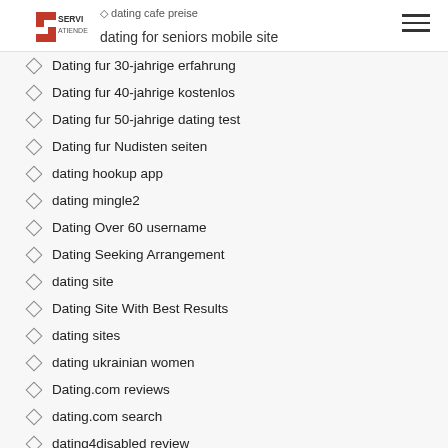dating cafe preise | dating for seniors mobile site
Dating fur 30-jahrige erfahrung
Dating fur 40-jahrige kostenlos
Dating fur 50-jahrige dating test
Dating fur Nudisten seiten
dating hookup app
dating mingle2
Dating Over 60 username
Dating Seeking Arrangement
dating site
Dating Site With Best Results
dating sites
dating ukrainian women
Dating.com reviews
dating.com search
dating4disabled review
datinghearts login